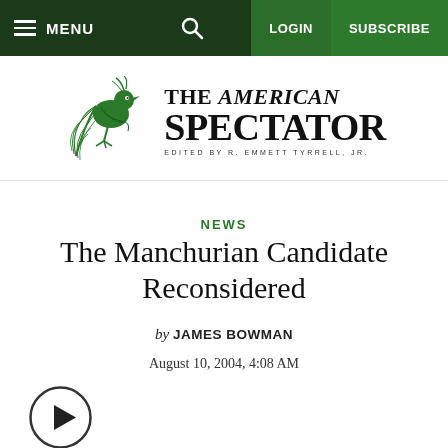MENU | [search] | LOGIN | SUBSCRIBE
[Figure (logo): The American Spectator logo with green bird illustration on left and publication name text on right, edited by R. Emmett Tyrrell, Jr.]
NEWS
The Manchurian Candidate Reconsidered
by JAMES BOWMAN
August 10, 2004, 4:08 AM
[Figure (other): Audio/video play button (circular play icon)]